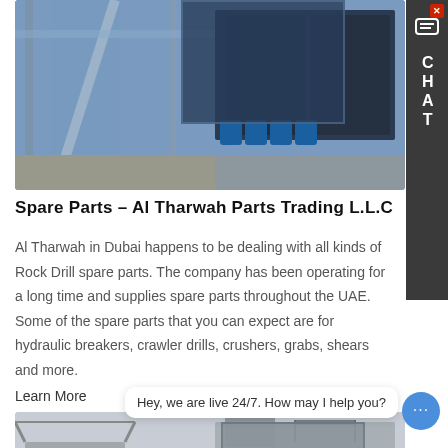[Figure (photo): Industrial facility with blue scaffolding, large steel structures, silos, and blue barrels on a concrete floor]
Spare Parts – Al Tharwah Parts Trading L.L.C
Al Tharwah in Dubai happens to be dealing with all kinds of Rock Drill spare parts. The company has been operating for a long time and supplies spare parts throughout the UAE. Some of the spare parts that you can expect are for hydraulic breakers, crawler drills, crushers, grabs, shears and more.
Learn More
[Figure (photo): Industrial machinery/crusher equipment on a grey overcast day, white/beige colored machines with scaffolding and platforms]
Hey, we are live 24/7. How may I help you?